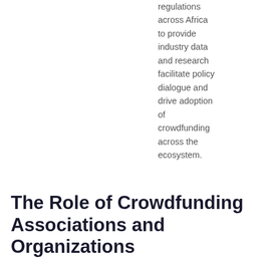regulations across Africa to provide industry data and research facilitate policy dialogue and drive adoption of crowdfunding across the ecosystem.
The Role of Crowdfunding Associations and Organizations